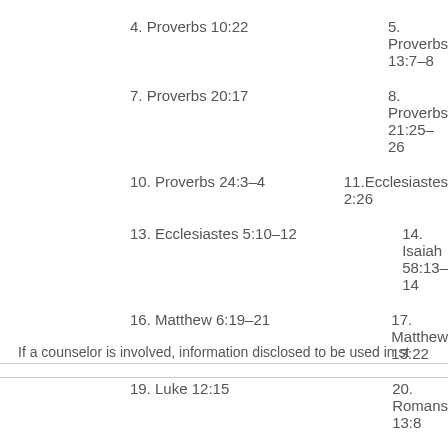4. Proverbs 10:22
5. Proverbs 13:7–8
7. Proverbs 20:17
8. Proverbs 21:25–26
10. Proverbs 24:3–4
11.Ecclesiastes 2:26
13. Ecclesiastes 5:10–12
14. Isaiah 58:13–14
16. Matthew 6:19–21
17. Matthew 13:22
19. Luke 12:15
20. Romans 13:8
22. Colossians 3:23
23. I Timothy 6:6–
If a counselor is involved, information disclosed to be used in st